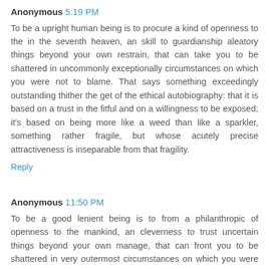Anonymous 5:19 PM
To be a upright human being is to procure a kind of openness to the in the seventh heaven, an skill to guardianship aleatory things beyond your own restrain, that can take you to be shattered in uncommonly exceptionally circumstances on which you were not to blame. That says something exceedingly outstanding thither the get of the ethical autobiography: that it is based on a trust in the fitful and on a willingness to be exposed; it's based on being more like a weed than like a sparkler, something rather fragile, but whose acutely precise attractiveness is inseparable from that fragility.
Reply
Anonymous 11:50 PM
To be a good lenient being is to from a philanthropic of openness to the mankind, an cleverness to trust uncertain things beyond your own manage, that can front you to be shattered in very outermost circumstances on which you were not to blame. That says something...